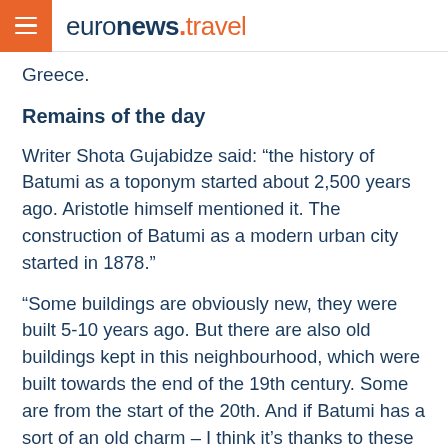euronews.travel
Greece.
Remains of the day
Writer Shota Gujabidze said: “the history of Batumi as a toponym started about 2,500 years ago. Aristotle himself mentioned it. The construction of Batumi as a modern urban city started in 1878.”
“Some buildings are obviously new, they were built 5-10 years ago. But there are also old buildings kept in this neighbourhood, which were built towards the end of the 19th century. Some are from the start of the 20th. And if Batumi has a sort of an old charm – I think it’s thanks to these buildings,” added Gujabidze.
After our morning tour, we decided to take a break. We